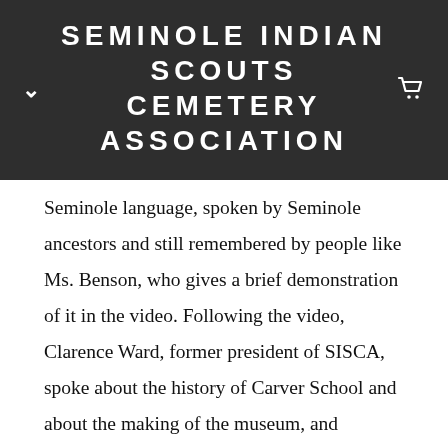SEMINOLE INDIAN SCOUTS CEMETERY ASSOCIATION
Seminole language, spoken by Seminole ancestors and still remembered by people like Ms. Benson, who gives a brief demonstration of it in the video. Following the video, Clarence Ward, former president of SISCA, spoke about the history of Carver School and about the making of the museum, and presented Augusta Pines with the book “Our Land Before we Die” written by Jeff Guinn as the starting piece of the library at the museum. Mayor Andres Rodriguez also said a few words, making emphasis on how important it is to have the Brackettville community united by events like the